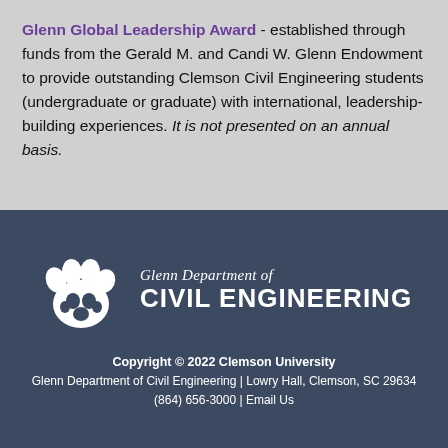Glenn Global Leadership Award - established through funds from the Gerald M. and Candi W. Glenn Endowment to provide outstanding Clemson Civil Engineering students (undergraduate or graduate) with international, leadership-building experiences. It is not presented on an annual basis.
[Figure (logo): Clemson University tiger paw logo with text: Glenn Department of CIVIL ENGINEERING]
Copyright © 2022 Clemson University
Glenn Department of Civil Engineering | Lowry Hall, Clemson, SC 29634
(864) 656-3000 | Email Us